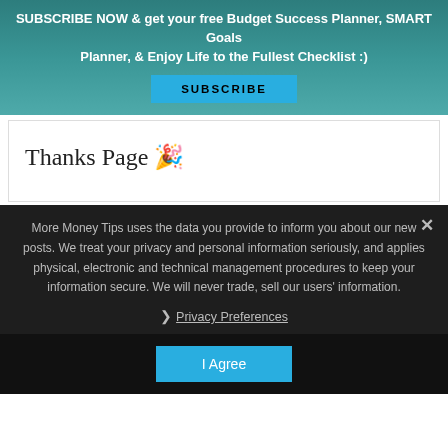SUBSCRIBE NOW & get your free Budget Success Planner, SMART Goals Planner, & Enjoy Life to the Fullest Checklist :)
Thanks Page 🎉
Comments
More Money Tips uses the data you provide to inform you about our new posts. We treat your privacy and personal information seriously, and applies physical, electronic and technical management procedures to keep your information secure. We will never trade, sell our users' information.
This website uses cookies to improve your experience. We'll assume you're ok with this, but you can opt-out if you wish.
❯ Privacy Preferences
I Agree